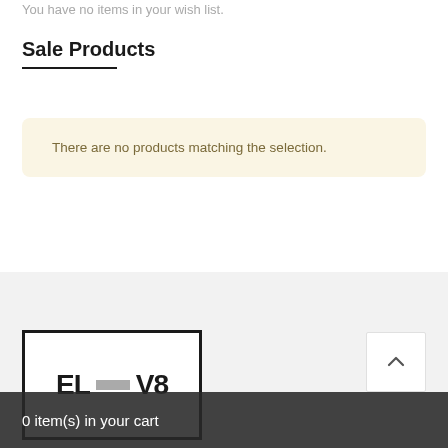You have no items in your wish list.
Sale Products
There are no products matching the selection.
[Figure (logo): ELV8 logo inside a rectangular border with bold block letters and a gray rectangle between EL and V8]
0 item(s) in your cart